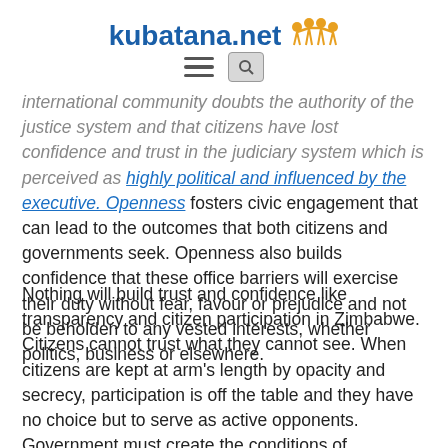kubatana.net
international community doubts the authority of the justice system and that citizens have lost confidence and trust in the judiciary system which is perceived as highly political and influenced by the executive. Openness fosters civic engagement that can lead to the outcomes that both citizens and governments seek. Openness also builds confidence that these office barriers will exercise their duty without fear, favour or prejudice and not be beholden to any vested interests, whether politics, business or elsewhere.
Nothing will build trust and confidence like transparency and citizen participation in Zimbabwe. Citizens cannot trust what they cannot see. When citizens are kept at arm's length by opacity and secrecy, participation is off the table and they have no choice but to serve as active opponents. Government must create the conditions of fundamental reforms that encourage transparency, accountability, fairness and delivers for all citizen needs. However, these